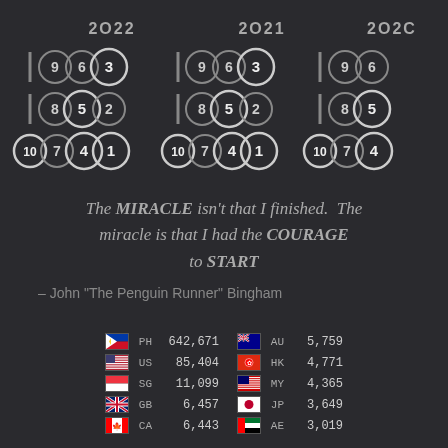[Figure (infographic): Three columns of circled numbers representing years 2022, 2021, and 2020. Each column shows ranked numbers in circles with some highlighted. Numbers shown: Row1: 9,6,3 | Row2: 8,5,2 | Row3: 10,7,4,1]
The MIRACLE isn't that I finished. The miracle is that I had the COURAGE to START – John "The Penguin Runner" Bingham
| Flag | CC | Count | Flag | CC | Count |
| --- | --- | --- | --- | --- | --- |
| PH flag | PH | 642,671 | AU flag | AU | 5,759 |
| US flag | US | 85,404 | HK flag | HK | 4,771 |
| SG flag | SG | 11,099 | MY flag | MY | 4,365 |
| GB flag | GB | 6,457 | JP flag | JP | 3,649 |
| CA flag | CA | 6,443 | AE flag | AE | 3,019 |